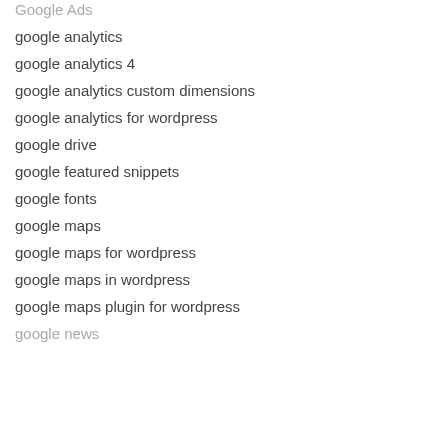Google Ads
google analytics
google analytics 4
google analytics custom dimensions
google analytics for wordpress
google drive
google featured snippets
google fonts
google maps
google maps for wordpress
google maps in wordpress
google maps plugin for wordpress
google news